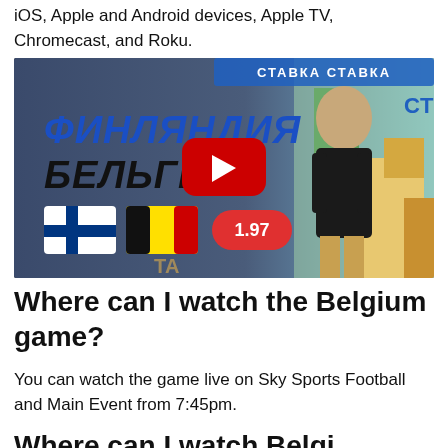iOS, Apple and Android devices, Apple TV, Chromecast, and Roku.
[Figure (screenshot): YouTube video thumbnail showing a Russian-language betting advertisement for Finland vs Belgium match, with flags, odds of 1.97, and a man in a leather jacket. Text in Cyrillic: ФИНЛЯНДИЯ БЕЛЬГИЯ.]
Where can I watch the Belgium game?
You can watch the game live on Sky Sports Football and Main Event from 7:45pm.
Where can I watch Belgium i...